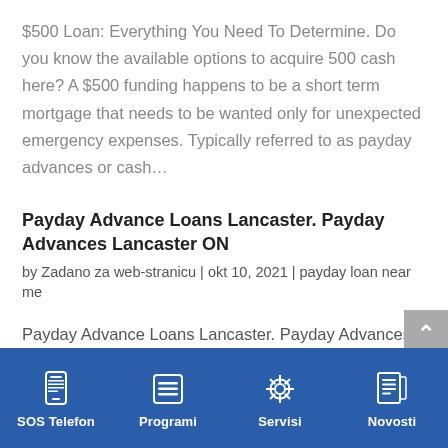$500 Loan: Everything You Need To Determine. Do you know the available options to acquire 500 cash here? A $500 funding happens to be a short term mortgage that needs to be wanted only for unexpected emergency expenses. Typically referred to as payday advances or cash…
Payday Advance Loans Lancaster. Payday Advances Lancaster ON
by Zadano za web-stranicu | okt 10, 2021 | payday loan near me
Payday Advance Loans Lancaster. Payday Advances Lancaster ON Ontario Cash Loan Online financial resource charges supply a handy method of obtaining all of our unsecure loan as everyone is merely required to use the
SOS Telefon | Programi | Servisi | Novosti